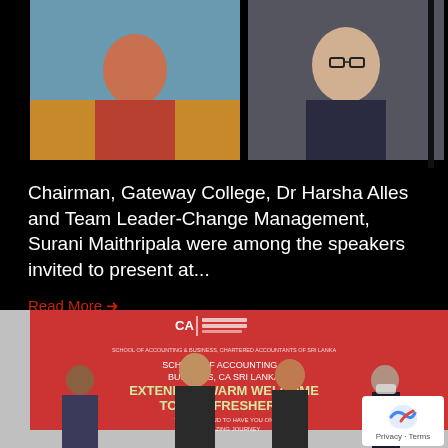[Figure (photo): Screenshot of a video call showing two participants: a woman in a red top on the left with a building background, and a woman with glasses in a dark blazer on the right against a grey background.]
Chairman, Gateway College, Dr Harsha Alles and Team Leader-Change Management, Surani Maithripala were among the speakers invited to present at...
Read More →
[Figure (photo): A group of people standing in front of a red banner that reads 'SCHOOL OF ACCOUNTING & BUSINESS, CA SRI LANKA - EXTENDS A WARM WELCOME TO OUR FRESHERS! WE ARE PROUD TO HAVE YOU ON THIS AMAZING JOURNEY' with the CA Sri Lanka logo above.]